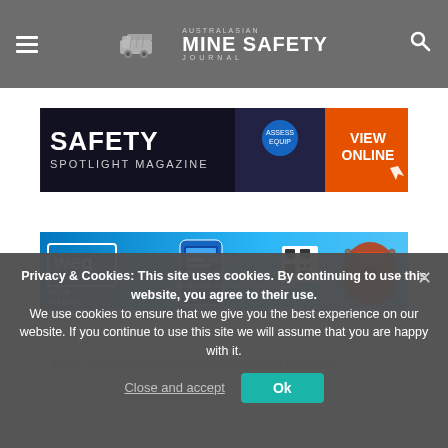Australasian Mine Safety Journal
[Figure (screenshot): Safety Spotlight Magazine banner ad – dark background with bold white text 'SAFETY SPOTLIGHT MAGAZINE' on the left, orange 'VIEW ONLINE' button on the right with cursor icon]
[Figure (screenshot): WEG Data Viewer banner ad – blue background with WEG logo on left, smartphone in center, motor on right, text: 'An app that simplifies routines, comparative analyses & maintenance jobs']
AMSJ » Resources Regulator welcomes fatality conviction
Privacy & Cookies: This site uses cookies. By continuing to use this website, you agree to their use. We use cookies to ensure that we give you the best experience on our website. If you continue to use this site we will assume that you are happy with it.
Close and accept
Ok